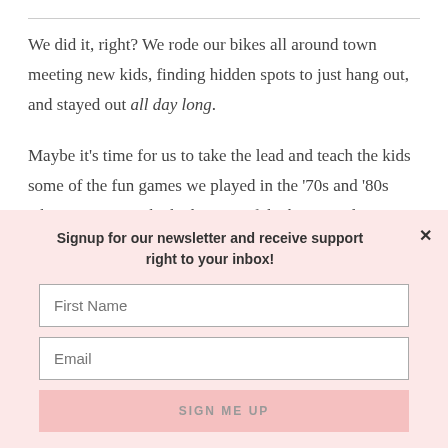We did it, right? We rode our bikes all around town meeting new kids, finding hidden spots to just hang out, and stayed out all day long.
Maybe it's time for us to take the lead and teach the kids some of the fun games we played in the '70s and '80s when our parents kicked us out of the house and
Signup for our newsletter and receive support right to your inbox!